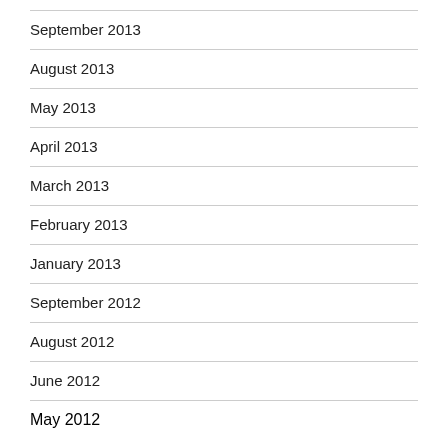September 2013
August 2013
May 2013
April 2013
March 2013
February 2013
January 2013
September 2012
August 2012
June 2012
May 2012